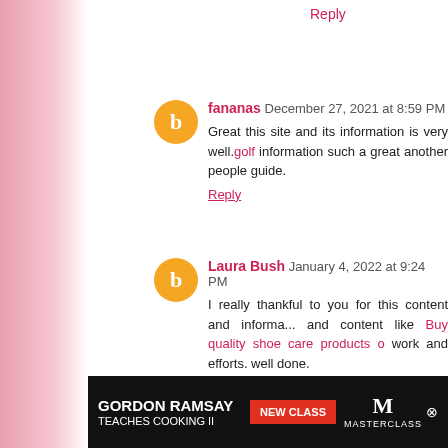Reply
fananas December 27, 2021 at 8:59 PM
Great this site and its information is very well.golf information such a great another people guide.
Reply
Laura Bush January 4, 2022 at 9:24 PM
I really thankful to you for this content and information and content like Buy quality shoe care products o... work and efforts. well done.
Reply
david January 10, 2022 at 6:19 AM
eat deal
[Figure (other): Gordon Ramsay Teaches Cooking II MasterClass advertisement banner]